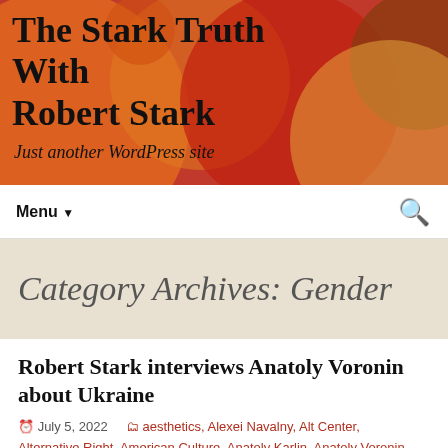The Stark Truth With Robert Stark
Just another WordPress site
Menu ▼
Category Archives: Gender
Robert Stark interviews Anatoly Voronin about Ukraine
July 5, 2022    aesthetics, Alexei Navalny, Alt Center, Alternative Right, American Culture, Anatoly Karlin, Anatoly Voronin, Art, Black Lives Matter, Bronze Age Pervert, Class, Communism, Culture, Curtis Yarvin, democracy, demographics, Donald Trump, Economics, Europe, Fashion, Feminism, Gender, Germany